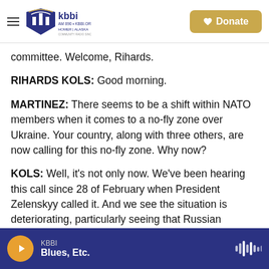KBBI AM 890 · KBBI.ORG · Homer, Alaska | Donate
committee. Welcome, Rihards.
RIHARDS KOLS: Good morning.
MARTINEZ: There seems to be a shift within NATO members when it comes to a no-fly zone over Ukraine. Your country, along with three others, are now calling for this no-fly zone. Why now?
KOLS: Well, it's not only now. We've been hearing this call since 28 of February when President Zelenskyy called it. And we see the situation is deteriorating, particularly seeing that Russian
KBBI · Blues, Etc.